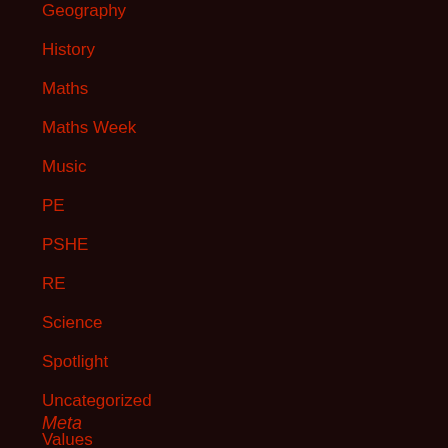Geography
History
Maths
Maths Week
Music
PE
PSHE
RE
Science
Spotlight
Uncategorized
Values
Meta